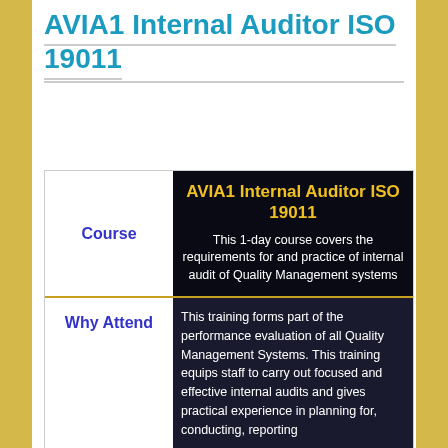AVIA1 Internal Auditor ISO 19011
|  |  |
| --- | --- |
| Course | AVIA1 Internal Auditor ISO 19011
This 1-day course covers the requirements for and practice of internal audit of Quality Management systems |
| Why Attend | This training forms part of the performance evaluation of all Quality Management Systems. This training equips staff to carry out focused and effective internal audits and gives practical experience in planning for, conducting, reporting |